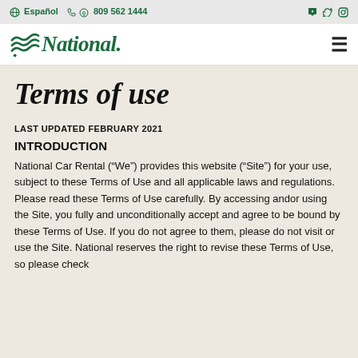Español  809 562 1444
[Figure (logo): National Car Rental logo with green wave icon and italic bold text 'National.']
Terms of use
LAST UPDATED FEBRUARY 2021
INTRODUCTION
National Car Rental (“We”) provides this website (“Site”) for your use, subject to these Terms of Use and all applicable laws and regulations. Please read these Terms of Use carefully. By accessing andor using the Site, you fully and unconditionally accept and agree to be bound by these Terms of Use. If you do not agree to them, please do not visit or use the Site. National reserves the right to revise these Terms of Use, so please check